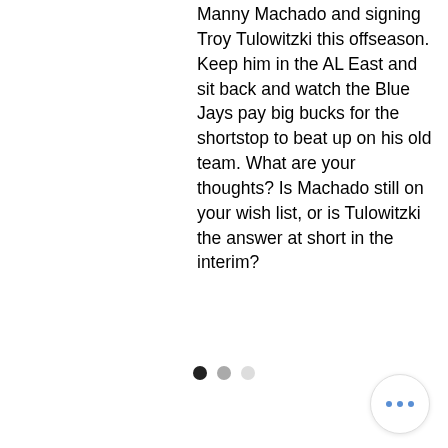Manny Machado and signing Troy Tulowitzki this offseason. Keep him in the AL East and sit back and watch the Blue Jays pay big bucks for the shortstop to beat up on his old team. What are your thoughts? Is Machado still on your wish list, or is Tulowitzki the answer at short in the interim?
[Figure (other): Social sharing icons: Facebook, Twitter, LinkedIn, and a link/chain icon]
[Figure (other): Horizontal divider line]
[Figure (other): Comment/speech bubble icon]
[Figure (other): Pagination dots: three dots, first black, second gray, third light gray]
[Figure (other): More options button: circular button with three blue dots]